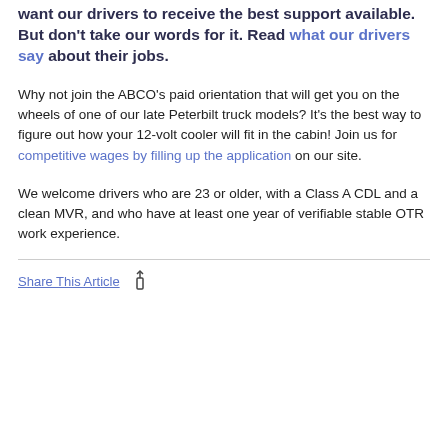want our drivers to receive the best support available. But don't take our words for it. Read what our drivers say about their jobs.
Why not join the ABCO's paid orientation that will get you on the wheels of one of our late Peterbilt truck models? It's the best way to figure out how your 12-volt cooler will fit in the cabin! Join us for competitive wages by filling up the application on our site.
We welcome drivers who are 23 or older, with a Class A CDL and a clean MVR, and who have at least one year of verifiable stable OTR work experience.
Share This Article